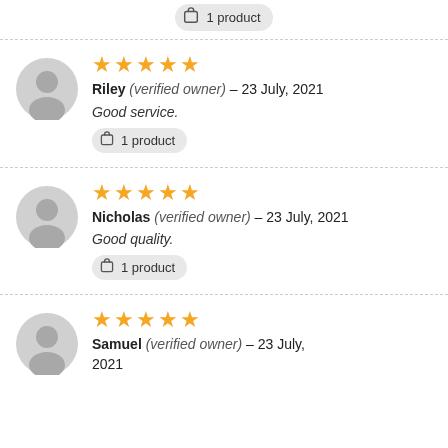1 product
Riley (verified owner) – 23 July, 2021
Good service.
1 product
Nicholas (verified owner) – 23 July, 2021
Good quality.
1 product
Samuel (verified owner) – 23 July, 2021